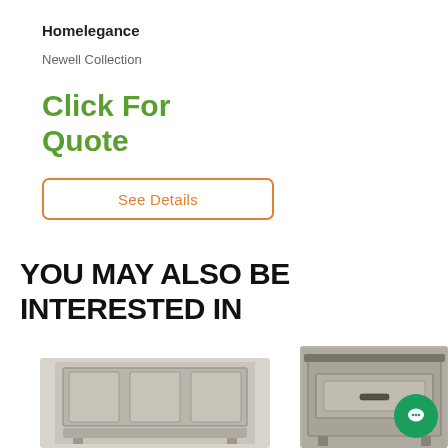Homelegance
Newell Collection
Click For Quote
See Details
YOU MAY ALSO BE INTERESTED IN
[Figure (photo): Furniture headboard - grey upholstered panel headboard]
[Figure (photo): Furniture nightstand - grey wood nightstand with drawer and metal handle]